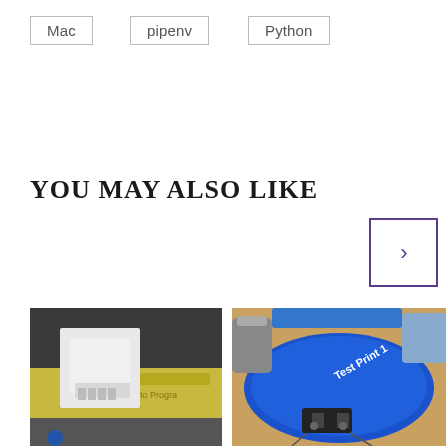Mac
pipenv
Python
YOU MAY ALSO LIKE
[Figure (other): Navigation next arrow button with purple border]
[Figure (photo): 3D printed white objects on a yellow book cover]
[Figure (photo): Blue 3D printed circular part labeled Test Print 1 with motors and switches attached]